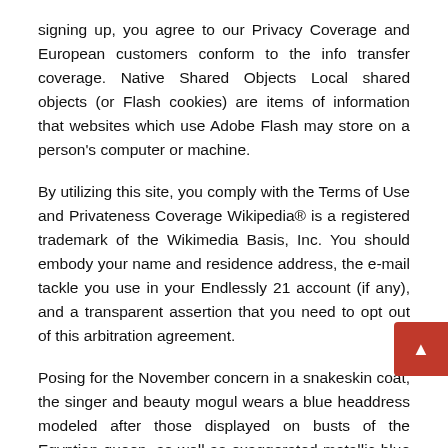signing up, you agree to our Privacy Coverage and European customers conform to the info transfer coverage. Native Shared Objects Local shared objects (or Flash cookies) are items of information that websites which use Adobe Flash may store on a person's computer or machine.
By utilizing this site, you comply with the Terms of Use and Privateness Coverage Wikipedia® is a registered trademark of the Wikimedia Basis, Inc. You should embody your name and residence address, the e-mail tackle you use in your Endlessly 21 account (if any), and a transparent assertion that you need to opt out of this arbitration agreement.
Posing for the November concern in a snakeskin coat, the singer and beauty mogul wears a blue headdress modeled after those displayed on busts of the Egyptian queen, as well as exaggerated metallic blue eyeshadow drawn out into a cat-eye form. Whether or not you are on the lookout for skin care merchandise with anti-getting old properties or for a remedy for pores and skin problems resembling